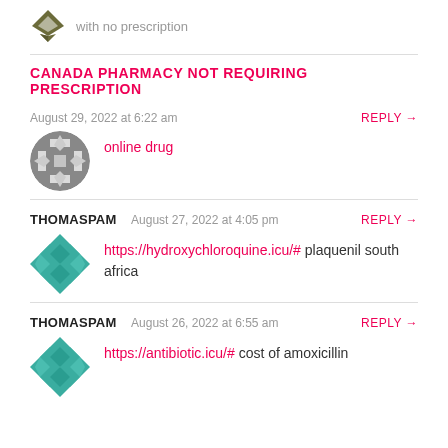with no prescription
CANADA PHARMACY NOT REQUIRING PRESCRIPTION
August 29, 2022 at 6:22 am
online drug
THOMASPAM  August 27, 2022 at 4:05 pm
https://hydroxychloroquine.icu/# plaquenil south africa
THOMASPAM  August 26, 2022 at 6:55 am
https://antibiotic.icu/# cost of amoxicillin